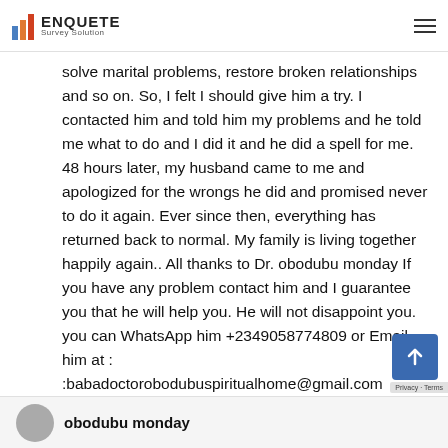ENQUETE Survey Solution
solve marital problems, restore broken relationships and so on. So, I felt I should give him a try. I contacted him and told him my problems and he told me what to do and I did it and he did a spell for me. 48 hours later, my husband came to me and apologized for the wrongs he did and promised never to do it again. Ever since then, everything has returned back to normal. My family is living together happily again.. All thanks to Dr. obodubu monday If you have any problem contact him and I guarantee you that he will help you. He will not disappoint you. you can WhatsApp him +2349058774809 or Email him at : :babadoctorobodubuspiritualhome@gmail.com
obodubu monday